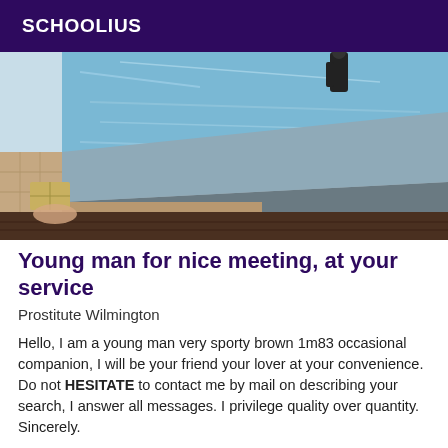SCHOOLIUS
[Figure (photo): Outdoor swimming pool edge with blue water and tiled surround, a person standing at the far end, and what appears to be a brick/block near the poolside in the foreground]
Young man for nice meeting, at your service
Prostitute Wilmington
Hello, I am a young man very sporty brown 1m83 occasional companion, I will be your friend your lover at your convenience. Do not HESITATE to contact me by mail on describing your search, I answer all messages. I privilege quality over quantity. Sincerely.